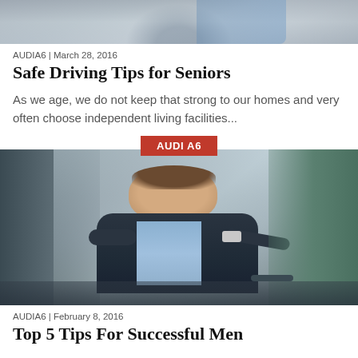[Figure (photo): Cropped top of article image showing a person, partially visible at top of page]
AUDIA6 | March 28, 2016
Safe Driving Tips for Seniors
As we age, we do not keep that strong to our homes and very often choose independent living facilities...
[Figure (photo): Photo of a smiling young man in a dark suit leaning out of a car window with a red AUDI A6 badge overlay]
AUDIA6 | February 8, 2016
Top 5 Tips For Successful Men